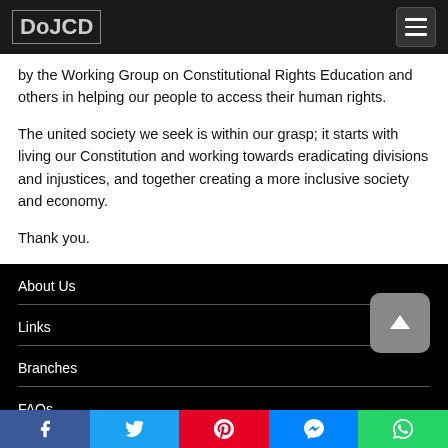DoJCD
by the Working Group on Constitutional Rights Education and others in helping our people to access their human rights.
The united society we seek is within our grasp; it starts with living our Constitution and working towards eradicating divisions and injustices, and together creating a more inclusive society and economy.
Thank you.
About Us
Links
Branches
FAQs
Legislation
Facebook | Twitter | Pinterest | Messenger | WhatsApp